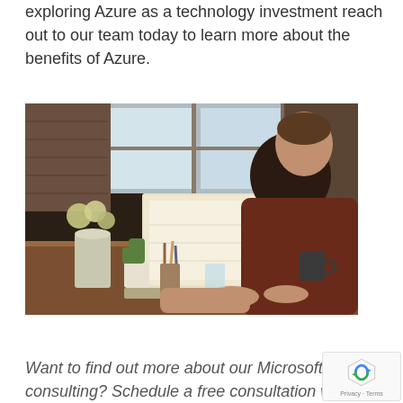exploring Azure as a technology investment reach out to our team today to learn more about the benefits of Azure.
[Figure (photo): Person sitting at a wooden desk working on a laptop, with plants, a vase, and a mug visible on the desk. A window with brick wall is visible in the background.]
Want to find out more about our Microsoft Azure consulting? Schedule a free consultation with o...